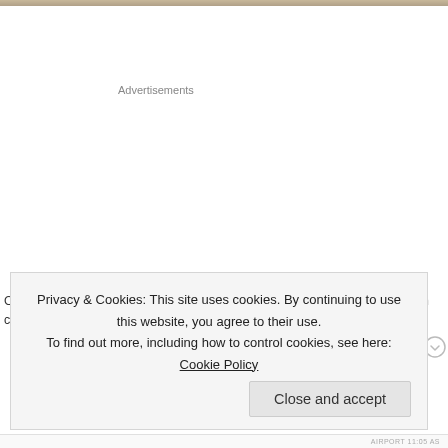[Figure (photo): Partial image strip at top of page]
Advertisements
On the other hand, morality, in enabling us to overcome selfishness and form cohesi...
Privacy & Cookies: This site uses cookies. By continuing to use this website, you agree to their use.
To find out more, including how to control cookies, see here: Cookie Policy
Close and accept
AIRPORT 11:05 AS